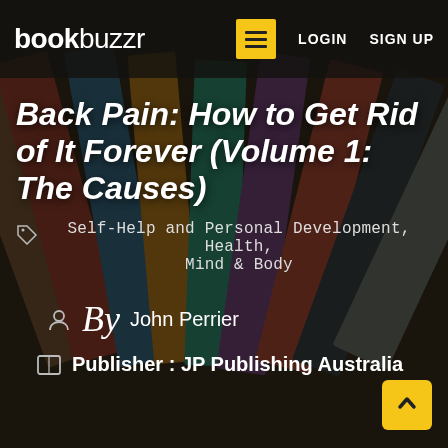bookbuzzr  LOGIN  SIGN UP
Back Pain: How to Get Rid of It Forever (Volume 1: The Causes)
Self-Help and Personal Development, Health, Mind & Body
By  John Perrier
Publisher : JP Publishing Australia